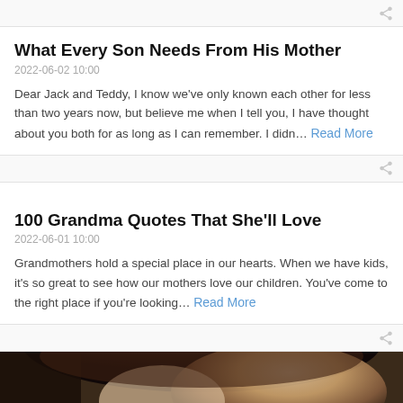[Figure (other): Share icon button bar at top]
What Every Son Needs From His Mother
2022-06-02 10:00
Dear Jack and Teddy, I know we've only known each other for less than two years now, but believe me when I tell you, I have thought about you both for as long as I can remember. I didn… Read More
[Figure (other): Share icon button bar]
100 Grandma Quotes That She'll Love
2022-06-01 10:00
Grandmothers hold a special place in our hearts. When we have kids, it's so great to see how our mothers love our children. You've come to the right place if you're looking… Read More
[Figure (other): Share icon button bar]
[Figure (photo): Photo of a woman and baby at bottom of page, partially cropped]